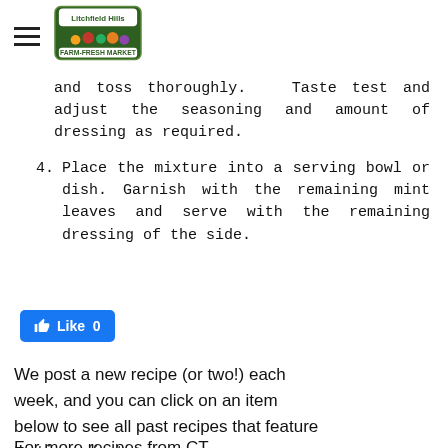Litchfield Hills Farm-Fresh Market
and toss thoroughly.  Taste test and adjust the seasoning and amount of dressing as required.
4. Place the mixture into a serving bowl or dish. Garnish with the remaining mint leaves and serve with the remaining dressing of the side.
[Figure (other): Facebook Like button showing 'Like 0']
We post a new recipe (or two!) each week, and you can click on an item below to see all past recipes that feature that ingredient.
For more recipes from CT